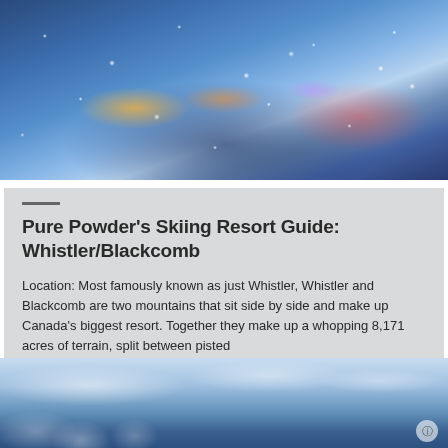[Figure (photo): Aerial night view of Whistler/Blackcomb ski resort village illuminated with colorful lights in snowy conditions with snowflakes visible]
Pure Powder’s Skiing Resort Guide: Whistler/Blackcomb
Location: Most famously known as just Whistler, Whistler and Blackcomb are two mountains that sit side by side and make up Canada’s biggest resort. Together they make up a whopping 8,171 acres of terrain, split between pisted
Posted by: Georgie Knox
[Figure (photo): Daytime aerial view of snow-covered mountain landscape with blue sky and clouds at Whistler]